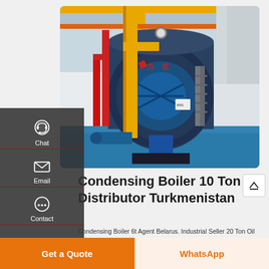[Figure (photo): Industrial condensing steam boiler in a factory setting. Large cylindrical blue boiler with Chinese characters, yellow pipes, red pipes, blue floor, metal walkways, white tanks in background. Yellow overhead crane visible at top.]
Condensing Boiler 10 Ton Distributor Turkmenistan
Condensing Boiler 6t Agent Belarus. Industrial Seller 20 Ton Oil Boiler Belarus High Tech steam boiler manufacturers Of Industrial ANDA WNS 1 to 20 Ton Industrial Fire Tube Natural Gas Diesel Heavy Oil Lng system Fired Steam Boiler For Sale.
Get a Quote
WhatsApp